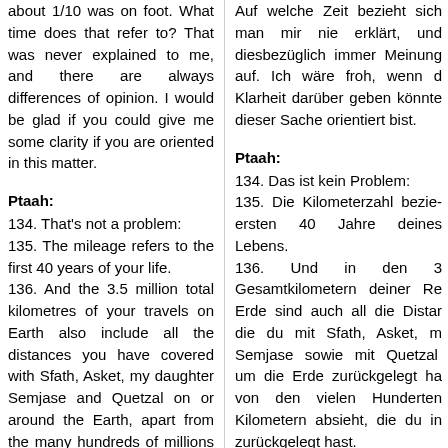about 1/10 was on foot. What time does that refer to? That was never explained to me, and there are always differences of opinion. I would be glad if you could give me some clarity if you are oriented in this matter.
Auf welche Zeit bezieht sich man mir nie erklärt, und diesbezüglich immer Meinung auf. Ich wäre froh, wenn Klarheit darüber könnte dieser Sache orientiert bist.
Ptaah:
134. That's not a problem:
135. The mileage refers to the first 40 years of your life.
136. And the 3.5 million total kilometres of your travels on Earth also include all the distances you have covered with Sfath, Asket, my daughter Semjase and Quetzal on or around the Earth, apart from the many hundreds of millions of kilometres you have
Ptaah:
134. Das ist kein Problem:
135. Die Kilometerzahl bezieht ersten 40 Jahre deines Lebens.
136. Und in den 3 Gesamtkilometern deiner Re Erde sind auch all die Distanzen die du mit Sfath, Asket, m Semjase sowie mit Quetzal um die Erde zurückgelegt ha von den vielen Hunderten Kilometern absieht, die du im zurückgelegt hast.